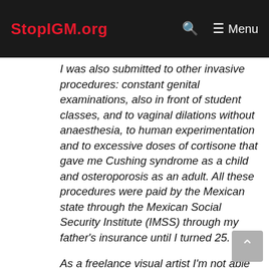StopIGM.org — Menu
I was also submitted to other invasive procedures: constant genital examinations, also in front of student classes, and to vaginal dilations without anaesthesia, to human experimentation and to excessive doses of cortisone that gave me Cushing syndrome as a child and osteroporosis as an adult. All these procedures were paid by the Mexican state through the Mexican Social Security Institute (IMSS) through my father's insurance until I turned 25.
As a freelance visual artist I'm not able to pay for IMSS coverage myself because this has become much more expensive than at the time of my parents. Only then I eventually